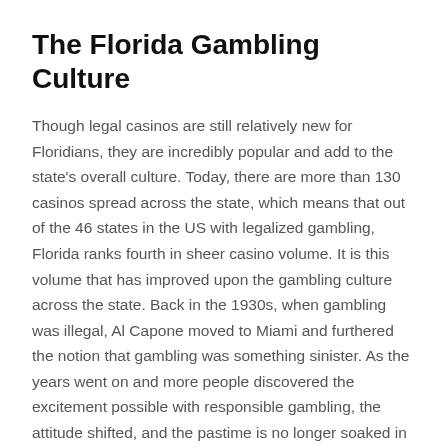The Florida Gambling Culture
Though legal casinos are still relatively new for Floridians, they are incredibly popular and add to the state's overall culture. Today, there are more than 130 casinos spread across the state, which means that out of the 46 states in the US with legalized gambling, Florida ranks fourth in sheer casino volume. It is this volume that has improved upon the gambling culture across the state. Back in the 1930s, when gambling was illegal, Al Capone moved to Miami and furthered the notion that gambling was something sinister. As the years went on and more people discovered the excitement possible with responsible gambling, the attitude shifted, and the pastime is no longer soaked in negative stigma. Florida casinos are now so well-received that they regularly raise money for various charities, including the Juvenile